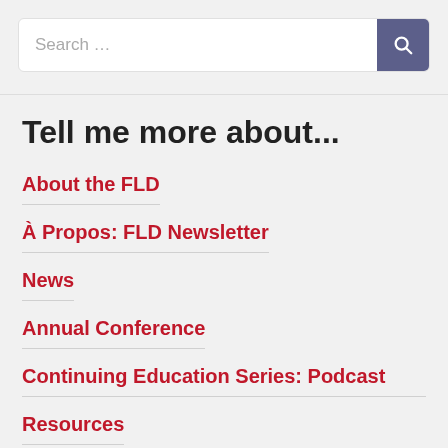[Figure (screenshot): Search bar with text 'Search ...' and a purple search button with magnifying glass icon]
Tell me more about...
About the FLD
À Propos: FLD Newsletter
News
Annual Conference
Continuing Education Series: Podcast
Resources